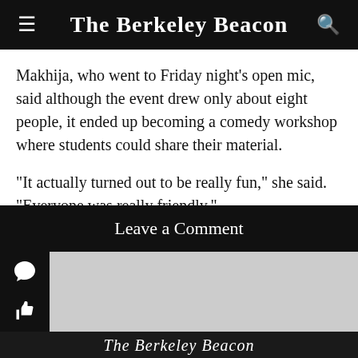The Berkeley Beacon
Makhija, who went to Friday night’s open mic, said although the event drew only about eight people, it ended up becoming a comedy workshop where students could share their material.
“It actually turned out to be really fun,” she said. “Everyone was really friendly.”
Suggest a Correction
Leave a Comment
The Berkeley Beacon